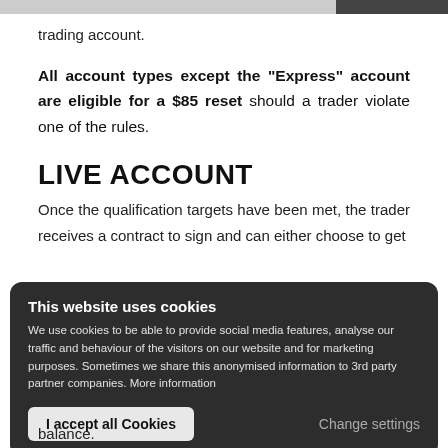trading account.
All account types except the "Express" account are eligible for a $85 reset should a trader violate one of the rules.
LIVE ACCOUNT
Once the qualification targets have been met, the trader receives a contract to sign and can either choose to get
This website uses cookies
We use cookies to be able to provide social media features, analyse our traffic and behaviour of the visitors on our website and for marketing purposes. Sometimes we share this anonymised information to 3rd party partner companies. More information
balance.